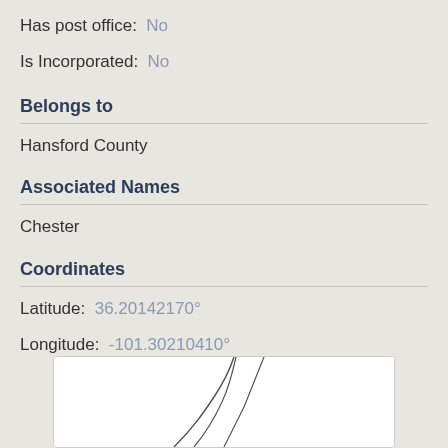Has post office: No
Is Incorporated: No
Belongs to
Hansford County
Associated Names
Chester
Coordinates
Latitude: 36.20142170°
Longitude: -101.30210410°
[Figure (map): A partial map showing geographic lines/roads on white background, partially visible at the bottom of the page]